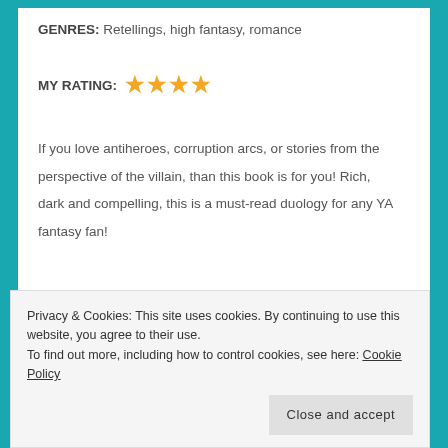GENRES: Retellings, high fantasy, romance
MY RATING: ★★★★
If you love antiheroes, corruption arcs, or stories from the perspective of the villain, than this book is for you! Rich, dark and compelling, this is a must-read duology for any YA fantasy fan!
Privacy & Cookies: This site uses cookies. By continuing to use this website, you agree to their use.
To find out more, including how to control cookies, see here: Cookie Policy
Close and accept